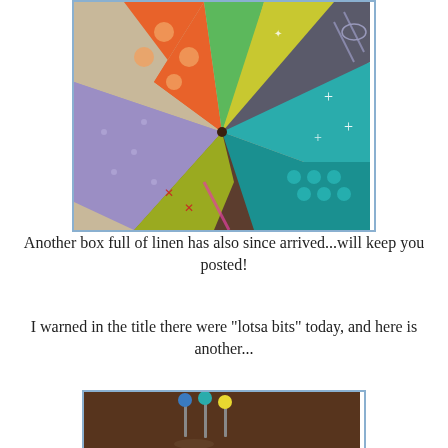[Figure (photo): A fan arrangement of colorful fabric fat quarters in various patterns: orange polka dot, green solid, yellow with white stars, dark brown/gray with geometric pattern, teal with plus signs, teal with circles, yellow-green solid, dark brown solid, purple/lavender solid, and others, all spread out in a circular fan shape.]
Another box full of linen has also since arrived...will keep you posted!
I warned in the title there were "lotsa bits" today, and here is another...
[Figure (photo): A dark brown background with colorful sewing pins (blue, teal, yellow) stuck into what appears to be a pincushion or fabric surface, partially visible at the bottom of the image.]